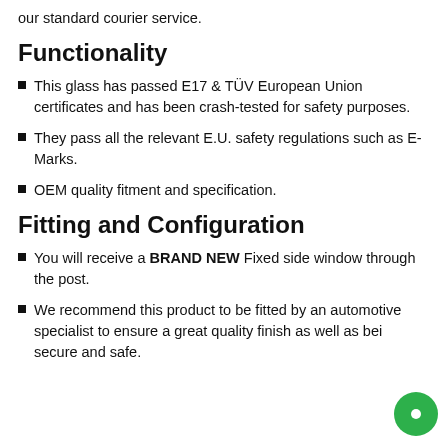our standard courier service.
Functionality
This glass has passed E17 & TÜV European Union certificates and has been crash-tested for safety purposes.
They pass all the relevant E.U. safety regulations such as E-Marks.
OEM quality fitment and specification.
Fitting and Configuration
You will receive a BRAND NEW Fixed side window through the post.
We recommend this product to be fitted by an automotive specialist to ensure a great quality finish as well as being secure and safe.